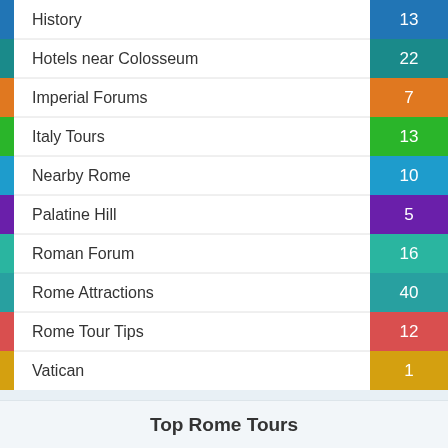[Figure (bar-chart): Rome Tour Categories]
Top Rome Tours